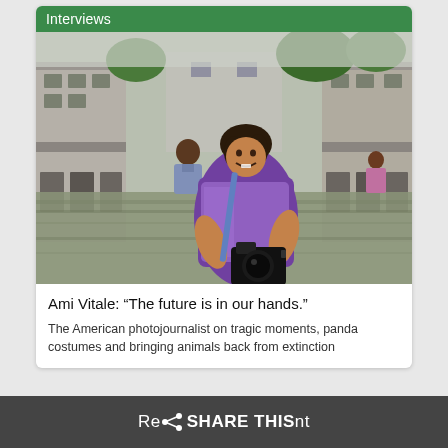Interviews
[Figure (photo): A smiling woman photographer (Ami Vitale) holding a camera, standing waist-deep in floodwater between buildings, with a man standing in the water behind her.]
Ami Vitale: “The future is in our hands.”
The American photojournalist on tragic moments, panda costumes and bringing animals back from extinction
Re SHARE THIS nt